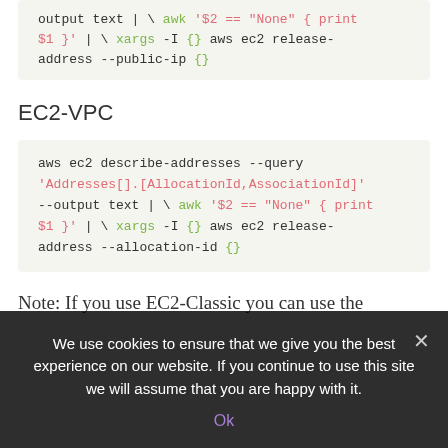[Figure (screenshot): Code block (partial, top of page) showing: output text | \ awk '$2 == "None" { print $1 }' | \ xargs -I {} aws ec2 release-address --public-ip {}]
EC2-VPC
[Figure (screenshot): Code block: aws ec2 describe-addresses --query 'Addresses[].[AllocationId,AssociationId]' --output text | \ awk '$2 == "None" { print $1 }' | \ xargs -I {} aws ec2 release-address --allocation-id {}]
Note: If you use EC2-Classic you can use the --public-ip ... aws ec2 release-address --allocation-id ... --allocation-id ...
We use cookies to ensure that we give you the best experience on our website. If you continue to use this site we will assume that you are happy with it.